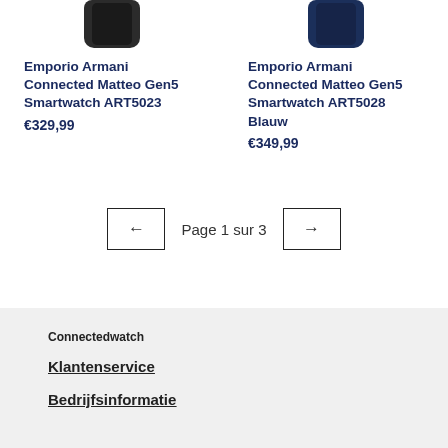[Figure (photo): Emporio Armani Connected Matteo Gen5 Smartwatch product image, black]
Emporio Armani Connected Matteo Gen5 Smartwatch ART5023
€329,99
[Figure (photo): Emporio Armani Connected Matteo Gen5 Smartwatch product image, navy blue]
Emporio Armani Connected Matteo Gen5 Smartwatch ART5028 Blauw
€349,99
← Page 1 sur 3 →
Connectedwatch
Klantenservice
Bedrijfsinformatie